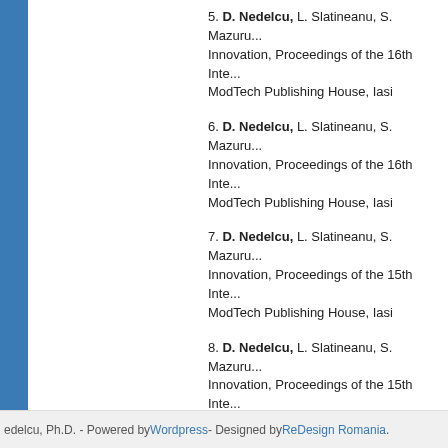5. D. Nedelcu, L. Slatineanu, S. Mazuru... Innovation, Proceedings of the 16th Inte... ModTech Publishing House, Iasi
6. D. Nedelcu, L. Slatineanu, S. Mazuru... Innovation, Proceedings of the 16th Inte... ModTech Publishing House, Iasi
7. D. Nedelcu, L. Slatineanu, S. Mazuru... Innovation, Proceedings of the 15th Inte... ModTech Publishing House, Iasi
8. D. Nedelcu, L. Slatineanu, S. Mazuru... Innovation, Proceedings of the 15th Inte... ModTech Publishing House, Iasi
9. D. Nedelcu, L. Slatineanu, S. Mazuru... Innovation, Proceedings of the 14th Inte... Politehnium Publishing House, Iasi
10. D. Nedelcu, L. Slatineanu, S. Mazur... Innovation, Proceedings of the 13th Inte... Politehnium Publishing House, Iasi
edelcu, Ph.D. - Powered by Wordpress - Designed by ReDesign Romania.